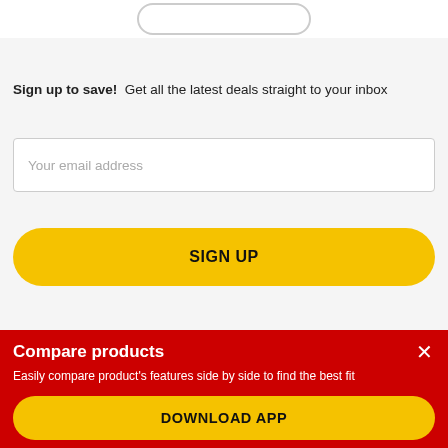[Figure (screenshot): Top of a rounded pill/button partially visible at the top of the page]
Sign up to save!  Get all the latest deals straight to your inbox
[Figure (screenshot): Email address input field with placeholder text 'Your email address']
SIGN UP
Compare products
Easily compare product's features side by side to find the best fit
DOWNLOAD APP